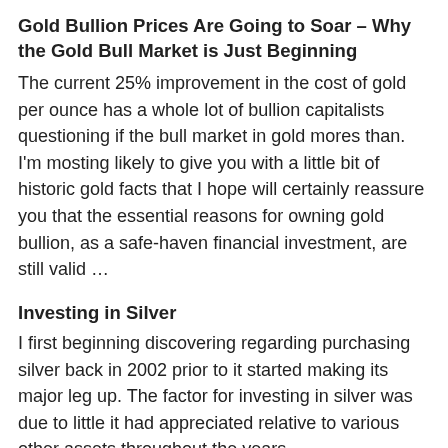Gold Bullion Prices Are Going to Soar – Why the Gold Bull Market is Just Beginning
The current 25% improvement in the cost of gold per ounce has a whole lot of bullion capitalists questioning if the bull market in gold mores than. I'm mosting likely to give you with a little bit of historic gold facts that I hope will certainly reassure you that the essential reasons for owning gold bullion, as a safe-haven financial investment, are still valid …
Investing in Silver
I first beginning discovering regarding purchasing silver back in 2002 prior to it started making its major leg up. The factor for investing in silver was due to little it had appreciated relative to various other assets throughout the years.
5 Good Reasons to Buy Gold Coins Now